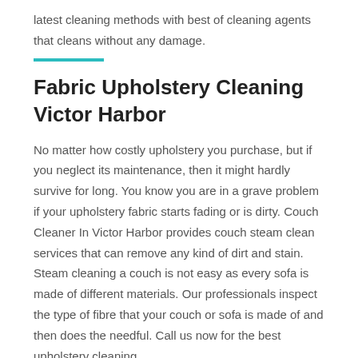latest cleaning methods with best of cleaning agents that cleans without any damage.
Fabric Upholstery Cleaning Victor Harbor
No matter how costly upholstery you purchase, but if you neglect its maintenance, then it might hardly survive for long. You know you are in a grave problem if your upholstery fabric starts fading or is dirty. Couch Cleaner In Victor Harbor provides couch steam clean services that can remove any kind of dirt and stain. Steam cleaning a couch is not easy as every sofa is made of different materials. Our professionals inspect the type of fibre that your couch or sofa is made of and then does the needful. Call us now for the best upholstery cleaning.